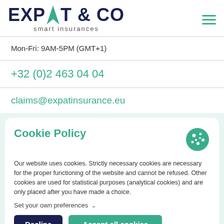[Figure (logo): Expat & Co smart insurances logo with dark navy text and teal arrow symbol, hamburger menu icon top right]
Mon-Fri: 9AM-5PM (GMT+1)
+32 (0)2 463 04 04
claims@expatinsurance.eu
Cookie Policy
Our website uses cookies. Strictly necessary cookies are necessary for the proper functioning of the website and cannot be refused. Other cookies are used for statistical purposes (analytical cookies) and are only placed after you have made a choice.
Set your own preferences ∨
Decline
Accept all cookies
(alarm centre, please only contact in case of out of hours